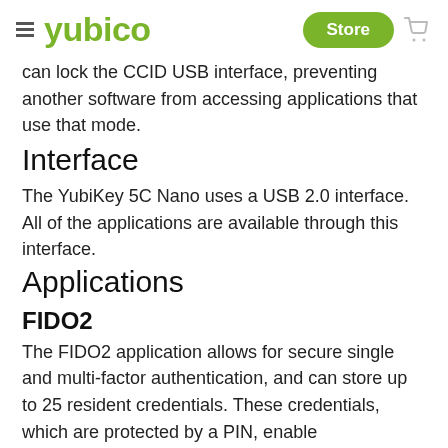yubico — Store
can lock the CCID USB interface, preventing another software from accessing applications that use that mode.
Interface
The YubiKey 5C Nano uses a USB 2.0 interface. All of the applications are available through this interface.
Applications
FIDO2
The FIDO2 application allows for secure single and multi-factor authentication, and can store up to 25 resident credentials. These credentials, which are protected by a PIN, enable passwordless login, where